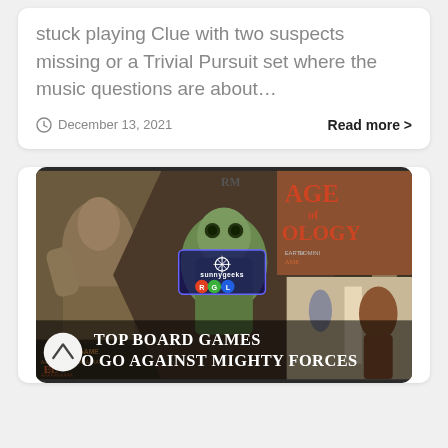stuck playing Clue with two suspects missing or a Trivial Pursuit set where the music questions are about…
December 13, 2021
Read more >
[Figure (photo): Collage image for a board game article titled 'Top Board Games to Go Against Mighty Forces' with sunnygeeks RGL branding overlay, showing various board game artwork including Age of mythology and other fantasy games.]